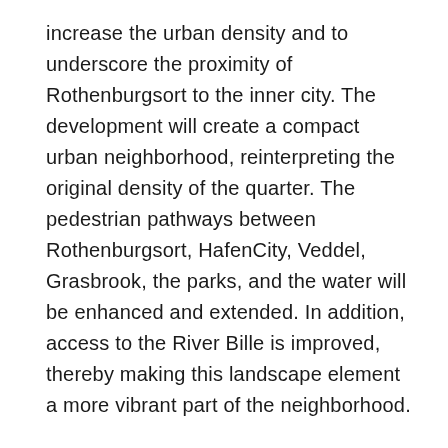increase the urban density and to underscore the proximity of Rothenburgsort to the inner city. The development will create a compact urban neighborhood, reinterpreting the original density of the quarter. The pedestrian pathways between Rothenburgsort, HafenCity, Veddel, Grasbrook, the parks, and the water will be enhanced and extended. In addition, access to the River Bille is improved, thereby making this landscape element a more vibrant part of the neighborhood.